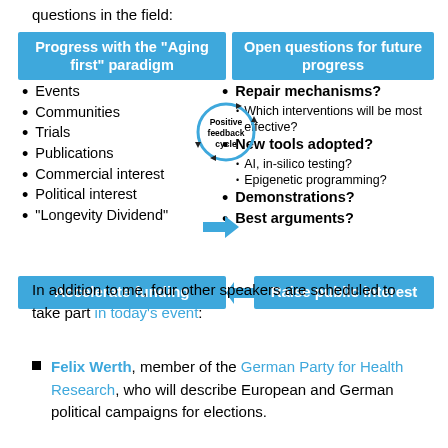questions in the field:
[Figure (infographic): Two-column infographic with blue headers. Left column: 'Progress with the "Aging first" paradigm' with bullet points: Events, Communities, Trials, Publications, Commercial interest, Political interest, "Longevity Dividend". Right column: 'Open questions for future progress' with bullet points: Repair mechanisms?, Which interventions will be most effective?, New tools adopted?, AI in-silico testing?, Epigenetic programming?, Demonstrations?, Best arguments?. Center has a circular 'Positive feedback cycle' diagram with arrows. A blue right arrow points from 'Commercial interest' to the right column. Bottom: 'Accelerate funding' (left blue box) with left arrow from 'Raise public interest' (right blue box).]
In addition to me, four other speakers are scheduled to take part in today's event:
Felix Werth, member of the German Party for Health Research, who will describe European and German political campaigns for elections.